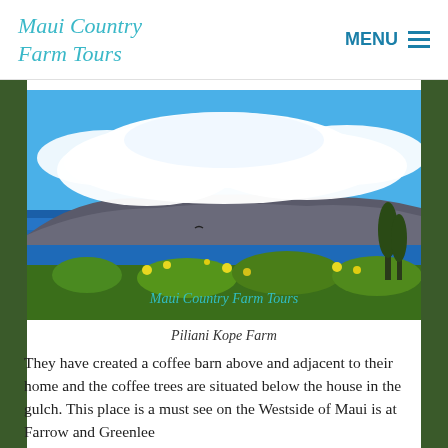Maui Country Farm Tours | MENU
[Figure (photo): Scenic landscape photo showing a mountain island across the ocean with white clouds above and tropical plants/flowers in the foreground. Watermark reads 'Maui Country Farm Tours' in teal cursive.]
Piliani Kope Farm
They have created a coffee barn above and adjacent to their home and the coffee trees are situated below the house in the gulch. This place is a must see on the Westside of Maui is at Farrow and Greenlee...